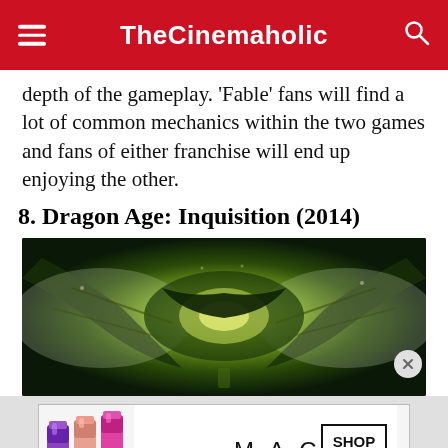TheCinemaholic
depth of the gameplay. ‘Fable’ fans will find a lot of common mechanics within the two games and fans of either franchise will end up enjoying the other.
8. Dragon Age: Inquisition (2014)
[Figure (photo): Dragon Age: Inquisition game art showing a dragon with spread wings from aerial view, dark green and gold tones with dramatic lighting]
[Figure (photo): MAC Cosmetics advertisement showing colorful lipsticks (purple, pink, coral) with MAC logo and SHOP NOW button, red lipstick on right side]